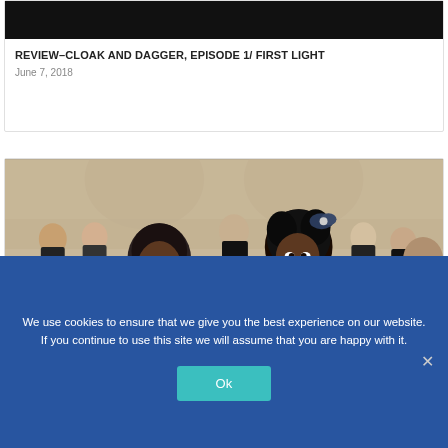[Figure (screenshot): Black image bar at top of article card]
REVIEW–CLOAK AND DAGGER, EPISODE 1/ FIRST LIGHT
June 7, 2018
[Figure (photo): Photo of two young actors in church/school uniforms sitting in wooden pews; a young Black man in a blue graduation robe and a young Black woman in a white blouse with a bow in her hair, with other students in dark uniforms visible in the background]
We use cookies to ensure that we give you the best experience on our website. If you continue to use this site we will assume that you are happy with it.